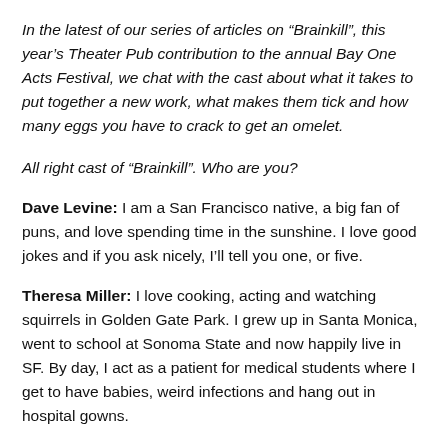In the latest of our series of articles on “Brainkill”, this year’s Theater Pub contribution to the annual Bay One Acts Festival, we chat with the cast about what it takes to put together a new work, what makes them tick and how many eggs you have to crack to get an omelet.
All right cast of “Brainkill”. Who are you?
Dave Levine: I am a San Francisco native, a big fan of puns, and love spending time in the sunshine. I love good jokes and if you ask nicely, I’ll tell you one, or five.
Theresa Miller: I love cooking, acting and watching squirrels in Golden Gate Park. I grew up in Santa Monica, went to school at Sonoma State and now happily live in SF. By day, I act as a patient for medical students where I get to have babies, weird infections and hang out in hospital gowns.